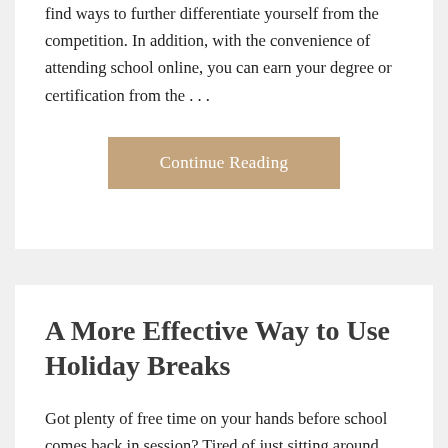find ways to further differentiate yourself from the competition. In addition, with the convenience of attending school online, you can earn your degree or certification from the . . .
Continue Reading
A More Effective Way to Use Holiday Breaks
Got plenty of free time on your hands before school comes back in session? Tired of just sitting around